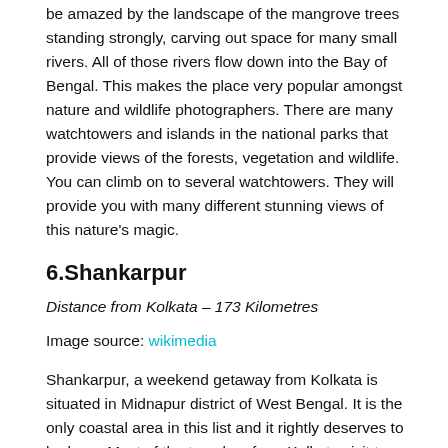be amazed by the landscape of the mangrove trees standing strongly, carving out space for many small rivers. All of those rivers flow down into the Bay of Bengal. This makes the place very popular amongst nature and wildlife photographers. There are many watchtowers and islands in the national parks that provide views of the forests, vegetation and wildlife. You can climb on to several watchtowers. They will provide you with many different stunning views of this nature's magic.
6.Shankarpur
Distance from Kolkata – 173 Kilometres
Image source: wikimedia
Shankarpur, a weekend getaway from Kolkata is situated in Midnapur district of West Bengal. It is the only coastal area in this list and it rightly deserves to be here. Most of the travelers from Kolkata visit to Digha. You can drive a little more east to visit the sleepy little place to back in the sunlight and sit back and enjoy